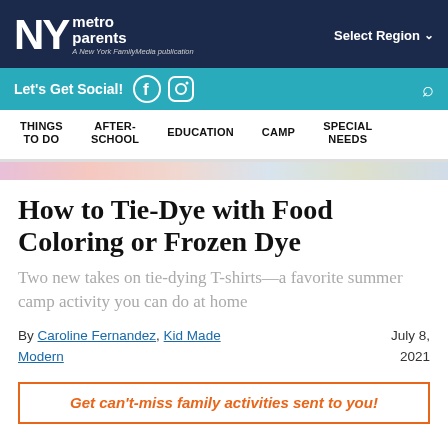NY metro parents — A New York FamilyMedia publication | Select Region
Let's Get Social!
THINGS TO DO | AFTER-SCHOOL | EDUCATION | CAMP | SPECIAL NEEDS
How to Tie-Dye with Food Coloring or Frozen Dye
Two new takes on tie-dying T-shirts—a favorite summer camp activity you can do at home
By Caroline Fernandez, Kid Made Modern   July 8, 2021
Get can't-miss family activities sent to you!